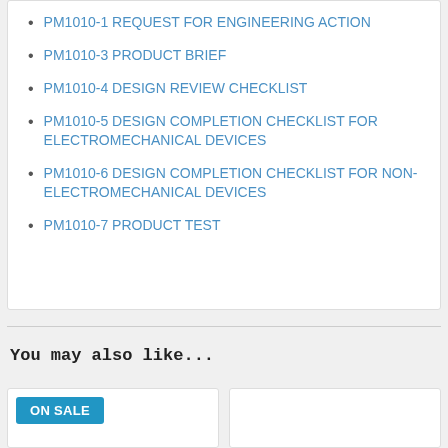PM1010-1 REQUEST FOR ENGINEERING ACTION
PM1010-3 PRODUCT BRIEF
PM1010-4 DESIGN REVIEW CHECKLIST
PM1010-5 DESIGN COMPLETION CHECKLIST FOR ELECTROMECHANICAL DEVICES
PM1010-6 DESIGN COMPLETION CHECKLIST FOR NON-ELECTROMECHANICAL DEVICES
PM1010-7 PRODUCT TEST
You may also like...
ON SALE